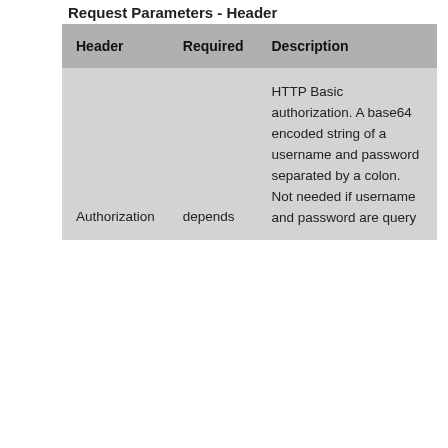Request Parameters - Header
| Header | Required | Description |
| --- | --- | --- |
| Authorization | depends | HTTP Basic authorization. A base64 encoded string of a username and password separated by a colon. Not needed if username and password are query |